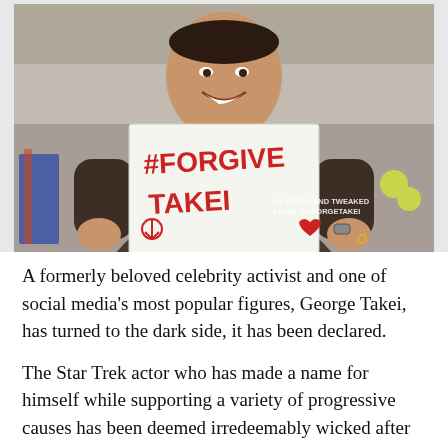[Figure (photo): A person wearing a dark brown turtleneck sweater, sitting on a couch, smiling and holding up a white sign that reads '#FORGIVE TAKEI' with a peace symbol and heart drawn in red marker. A watermark reads 'PILFERED AND TWEAKED FROM @GEORGETAKEI'.]
A formerly beloved celebrity activist and one of social media's most popular figures, George Takei, has turned to the dark side, it has been declared.
The Star Trek actor who has made a name for himself while supporting a variety of progressive causes has been deemed irredeemably wicked after saying in an interview that Clarence Thomas, the only African-American justice on the U.S. Supreme